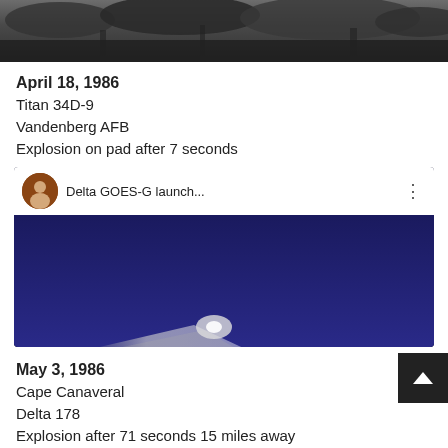[Figure (photo): Black and white photo of landscape/explosion, cropped at top]
April 18, 1986
Titan 34D-9
Vandenberg AFB
Explosion on pad after 7 seconds
[Figure (screenshot): YouTube video thumbnail for 'Delta GOES-G launch...' with play button overlay showing rocket launch]
May 3, 1986
Cape Canaveral
Delta 178
Explosion after 71 seconds 15 miles away
March 26, 1987